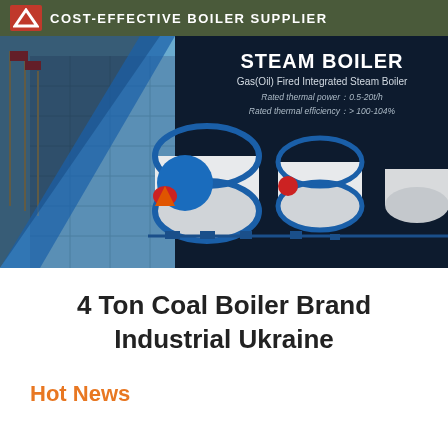COST-EFFECTIVE BOILER SUPPLIER
[Figure (photo): Banner showing steam boilers with building in background. Title: STEAM BOILER - Gas(Oil) Fired Integrated Steam Boiler. Rated thermal power: 0.5-20t/h. Rated thermal efficiency: > 100-104%]
4 Ton Coal Boiler Brand Industrial Ukraine
Hot News